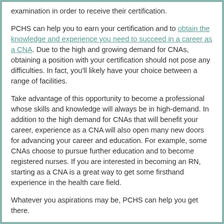examination in order to receive their certification.
PCHS can help you to earn your certification and to obtain the knowledge and experience you need to succeed in a career as a CNA. Due to the high and growing demand for CNAs, obtaining a position with your certification should not pose any difficulties. In fact, you'll likely have your choice between a range of facilities.
Take advantage of this opportunity to become a professional whose skills and knowledge will always be in high-demand. In addition to the high demand for CNAs that will benefit your career, experience as a CNA will also open many new doors for advancing your career and education. For example, some CNAs choose to pursue further education and to become registered nurses. If you are interested in becoming an RN, starting as a CNA is a great way to get some firsthand experience in the health care field.
Whatever you aspirations may be, PCHS can help you get there.
Posted in Careers|Health Care Services | Comments Off
There is a Massive Shortage of STNAs in